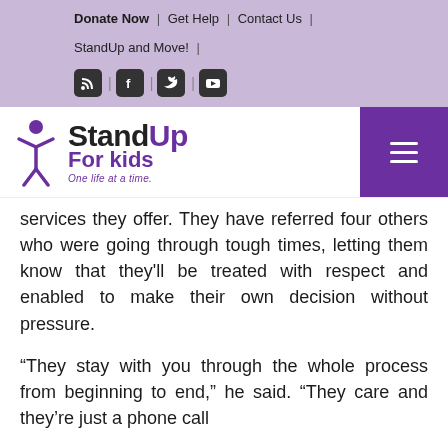Donate Now | Get Help | Contact Us | StandUp and Move! |
[Figure (logo): StandUp For Kids logo with icon, tagline 'One life at a time.' and purple hamburger menu button]
services they offer. They have referred four others who were going through tough times, letting them know that they'll be treated with respect and enabled to make their own decision without pressure.
“They stay with you through the whole process from beginning to end,” he said. “They care and they’re just a phone call